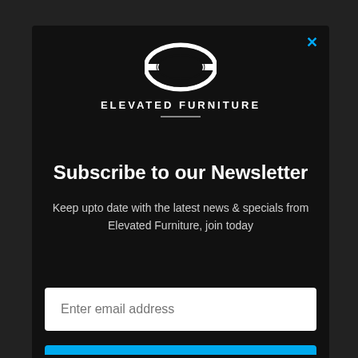[Figure (logo): Elevated Furniture logo — white ellipse/ring emblem with horizontal bar, text 'ELEVATED FURNITURE' in uppercase spaced letters below]
Subscribe to our Newsletter
Keep upto date with the latest news & specials from Elevated Furniture, join today
Enter email address
Send